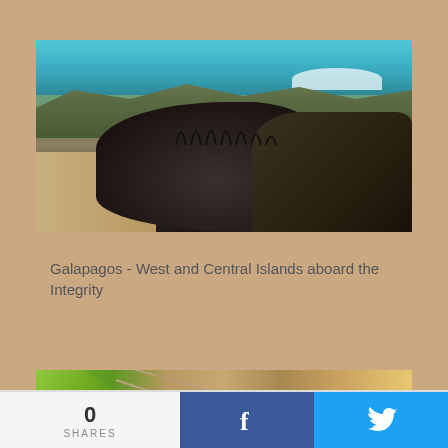[Figure (photo): Marine iguana on rocky beach with turquoise ocean and waves in background, Galapagos Islands]
Galapagos - West and Central Islands aboard the Integrity
[Figure (photo): Partial view of a Galapagos animal (sea lion or iguana) among green leaves and dry branches]
0 SHARES
[Figure (logo): Facebook share button - blue background with white f icon]
[Figure (logo): Twitter share button - light blue background with white bird icon]